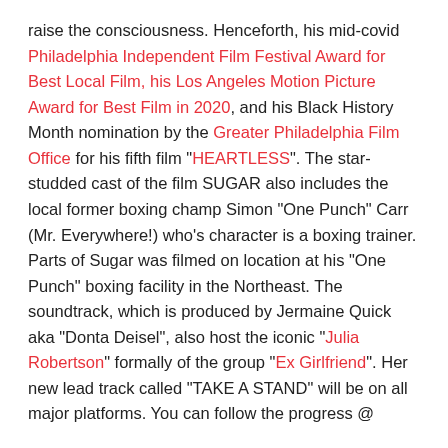raise the consciousness. Henceforth, his mid-covid Philadelphia Independent Film Festival Award for Best Local Film, his Los Angeles Motion Picture Award for Best Film in 2020, and his Black History Month nomination by the Greater Philadelphia Film Office for his fifth film "HEARTLESS". The star-studded cast of the film SUGAR also includes the local former boxing champ Simon "One Punch" Carr (Mr. Everywhere!) who's character is a boxing trainer. Parts of Sugar was filmed on location at his "One Punch" boxing facility in the Northeast. The soundtrack, which is produced by Jermaine Quick aka "Donta Deisel", also host the iconic "Julia Robertson" formally of the group "Ex Girlfriend". Her new lead track called "TAKE A STAND" will be on all major platforms. You can follow the progress @